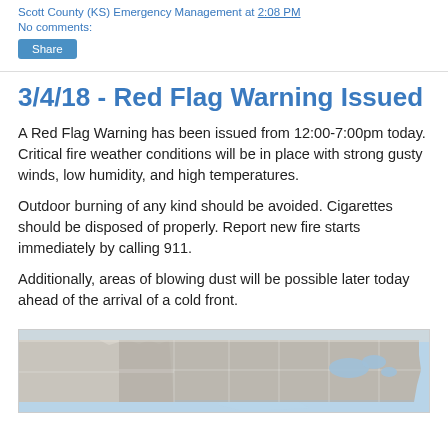Scott County (KS) Emergency Management at 2:08 PM
No comments:
Share
3/4/18 - Red Flag Warning Issued
A Red Flag Warning has been issued from 12:00-7:00pm today. Critical fire weather conditions will be in place with strong gusty winds, low humidity, and high temperatures.
Outdoor burning of any kind should be avoided. Cigarettes should be disposed of properly. Report new fire starts immediately by calling 911.
Additionally, areas of blowing dust will be possible later today ahead of the arrival of a cold front.
[Figure (map): Map of the United States showing weather warning regions, with gray shading over affected areas and blue highlighting of water bodies/coastal areas. Partial view showing top portion of the US map.]